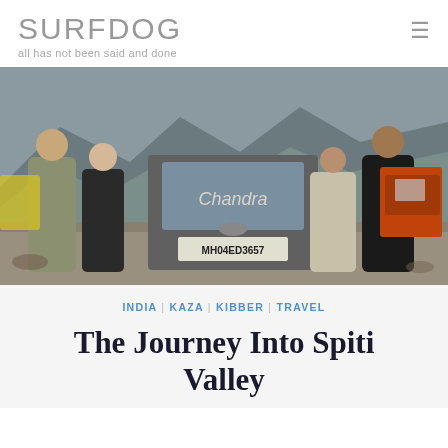SURFDOG
all has not been said and done
[Figure (photo): Four people standing behind a dusty Toyota SUV with license plate MH04ED3657 and 'Chandra' written on the back, on a mountain road in India. A red truck is visible in the background.]
INDIA | KAZA | KIBBER | TRAVEL
The Journey Into Spiti Valley